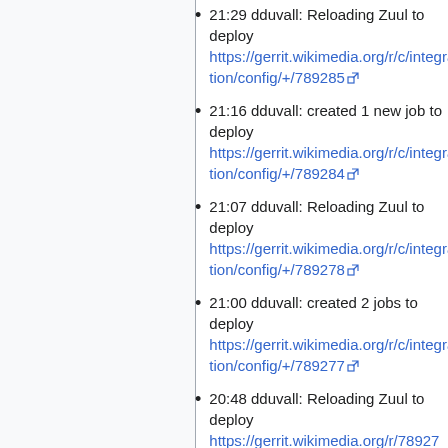21:29 dduvall: Reloading Zuul to deploy https://gerrit.wikimedia.org/r/c/integration/config/+/789285
21:16 dduvall: created 1 new job to deploy https://gerrit.wikimedia.org/r/c/integration/config/+/789284
21:07 dduvall: Reloading Zuul to deploy https://gerrit.wikimedia.org/r/c/integration/config/+/789278
21:00 dduvall: created 2 jobs to deploy https://gerrit.wikimedia.org/r/c/integration/config/+/789277
20:48 dduvall: Reloading Zuul to deploy https://gerrit.wikimedia.org/r/789274